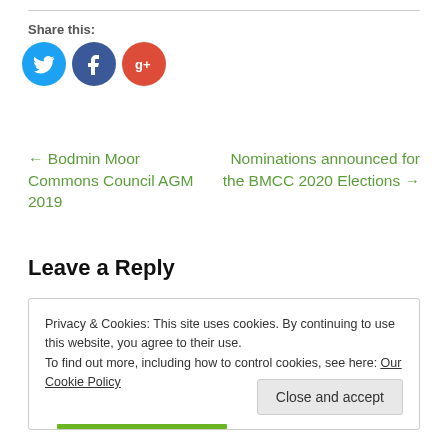Share this:
[Figure (illustration): Three social media icon buttons: Twitter (blue circle with bird icon), Facebook (dark blue circle with f icon), Google+ (red-orange circle with g+ icon)]
← Bodmin Moor Commons Council AGM 2019
Nominations announced for the BMCC 2020 Elections →
Leave a Reply
Privacy & Cookies: This site uses cookies. By continuing to use this website, you agree to their use.
To find out more, including how to control cookies, see here: Our Cookie Policy